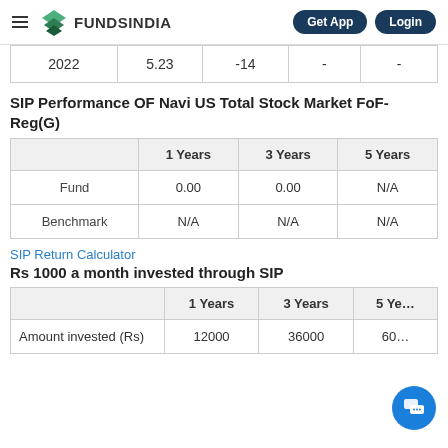FUNDSINDIA | Get App | Login
|  |  |  |  |  |
| --- | --- | --- | --- | --- |
| 2022 | 5.23 | -14 | - | - |
SIP Performance OF Navi US Total Stock Market FoF-Reg(G)
|  | 1 Years | 3 Years | 5 Years |
| --- | --- | --- | --- |
| Fund | 0.00 | 0.00 | N/A |
| Benchmark | N/A | N/A | N/A |
SIP Return Calculator
Rs 1000 a month invested through SIP
|  | 1 Years | 3 Years | 5 Ye... |
| --- | --- | --- | --- |
| Amount invested (Rs) | 12000 | 36000 | 60... |